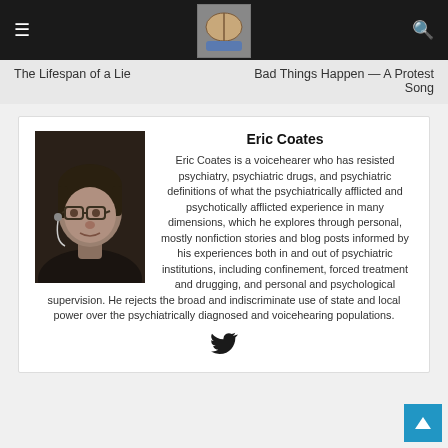Navigation bar with hamburger menu, brain logo, and search icon
The Lifespan of a Lie
Bad Things Happen — A Protest Song
[Figure (photo): Author photo of Eric Coates, a man wearing glasses]
Eric Coates
Eric Coates is a voicehearer who has resisted psychiatry, psychiatric drugs, and psychiatric definitions of what the psychiatrically afflicted and psychotically afflicted experience in many dimensions, which he explores through personal, mostly nonfiction stories and blog posts informed by his experiences both in and out of psychiatric institutions, including confinement, forced treatment and drugging, and personal and psychological supervision. He rejects the broad and indiscriminate use of state and local power over the psychiatrically diagnosed and voicehearing populations.